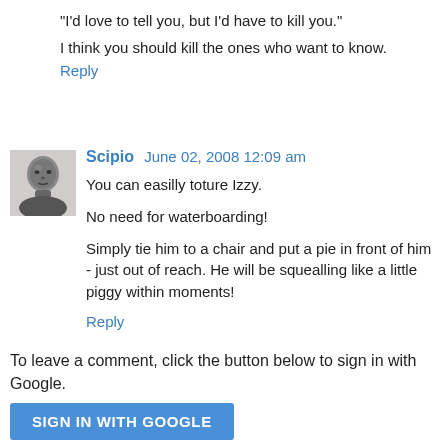"I'd love to tell you, but I'd have to kill you."
I think you should kill the ones who want to know.
Reply
Scipio  June 02, 2008 12:09 am
You can easilly toture Izzy.
No need for waterboarding!
Simply tie him to a chair and put a pie in front of him - just out of reach. He will be squealling like a little piggy within moments!
Reply
To leave a comment, click the button below to sign in with Google.
SIGN IN WITH GOOGLE